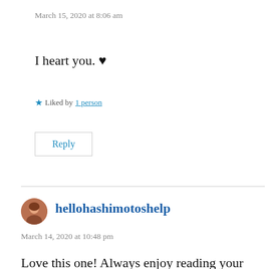March 15, 2020 at 8:06 am
I heart you. ♥
★ Liked by 1 person
Reply
hellohashimotoshelp
March 14, 2020 at 10:48 pm
Love this one! Always enjoy reading your